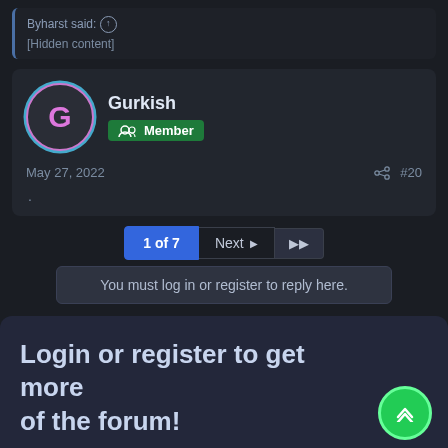Byharst said: ↑
[Hidden content]
Gurkish
Member
May 27, 2022
#20
.
1 of 7   Next ▶   ▶▶
You must log in or register to reply here.
Login or register to get more of the forum!